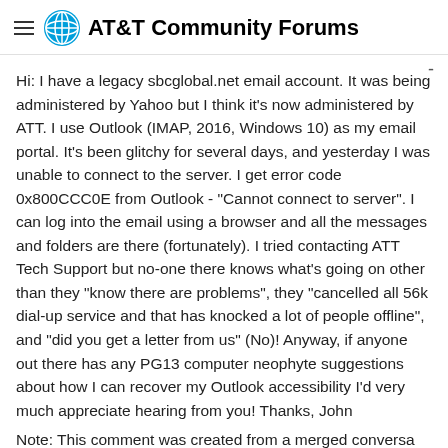AT&T Community Forums
Hi: I have a legacy sbcglobal.net email account. It was being administered by Yahoo but I think it's now administered by ATT. I use Outlook (IMAP, 2016, Windows 10) as my email portal. It's been glitchy for several days, and yesterday I was unable to connect to the server. I get error code 0x800CCC0E from Outlook - "Cannot connect to server". I can log into the email using a browser and all the messages and folders are there (fortunately). I tried contacting ATT Tech Support but no-one there knows what's going on other than they "know there are problems", they "cancelled all 56k dial-up service and that has knocked a lot of people offline", and "did you get a letter from us" (No)! Anyway, if anyone out there has any PG13 computer neophyte suggestions about how I can recover my Outlook accessibility I'd very much appreciate hearing from you! Thanks, John
Note: This comment was created from a merged conversation originally titled New Outlook server connect error 0x800CCC0E with legacy sbcglobal.net email